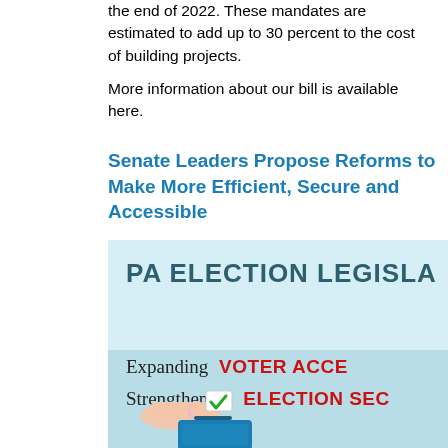the end of 2022. These mandates are estimated to add up to 30 percent to the cost of building projects.
More information about our bill is available here.
Senate Leaders Propose Reforms to Make More Efficient, Secure and Accessible
[Figure (infographic): PA Election Legislation infographic showing: Expanding VOTER ACCESS and Strengthening ELECTION SECURITY, with an illustration of a hand inserting a ballot into a voting box with a green checkmark.]